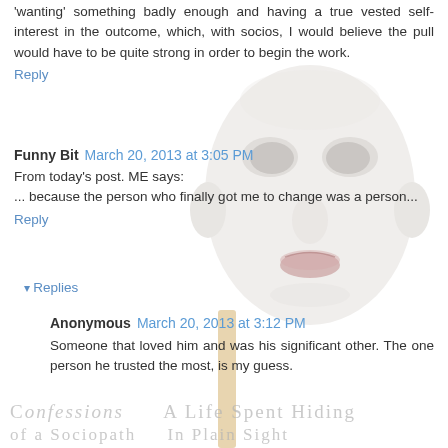'wanting' something badly enough and having a true vested self-interest in the outcome, which, with socios, I would believe the pull would have to be quite strong in order to begin the work.
Reply
[Figure (illustration): A white theatrical face mask on a stick, positioned in the center-right of the page, overlapping the comment text.]
Funny Bit  March 20, 2013 at 3:05 PM
From today's post. ME says:
... because the person who finally got me to change was a person...
Reply
Replies
Anonymous  March 20, 2013 at 3:12 PM
Someone that loved him and was his significant other. The one person he trusted the most, is my guess.
CONFESSIONS  A LIFE SPENT HIDING
OF A SOCIOPATH  IN PLAIN SIGHT